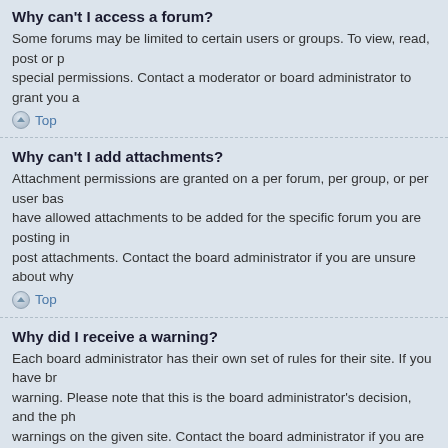Why can't I access a forum?
Some forums may be limited to certain users or groups. To view, read, post or p… special permissions. Contact a moderator or board administrator to grant you a…
Top
Why can't I add attachments?
Attachment permissions are granted on a per forum, per group, or per user bas… have allowed attachments to be added for the specific forum you are posting in… post attachments. Contact the board administrator if you are unsure about why…
Top
Why did I receive a warning?
Each board administrator has their own set of rules for their site. If you have br… warning. Please note that this is the board administrator's decision, and the ph… warnings on the given site. Contact the board administrator if you are unsure al…
Top
How can I report posts to a moderator?
If the board administrator has allowed it, you should see a button for reporting p… report. Clicking this will walk you through the steps necessary to report the pos…
Top
What is the “Save” button for in topic posting?
This allows you to save passages to be completed and submitted at a later dat… User Control Panel.